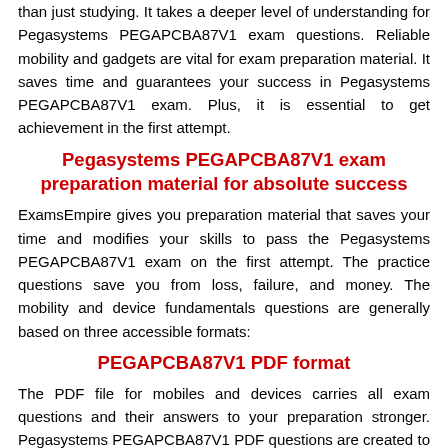than just studying. It takes a deeper level of understanding for Pegasystems PEGAPCBA87V1 exam questions. Reliable mobility and gadgets are vital for exam preparation material. It saves time and guarantees your success in Pegasystems PEGAPCBA87V1 exam. Plus, it is essential to get achievement in the first attempt.
Pegasystems PEGAPCBA87V1 exam preparation material for absolute success
ExamsEmpire gives you preparation material that saves your time and modifies your skills to pass the Pegasystems PEGAPCBA87V1 exam on the first attempt. The practice questions save you from loss, failure, and money. The mobility and device fundamentals questions are generally based on three accessible formats:
PEGAPCBA87V1 PDF format
The PDF file for mobiles and devices carries all exam questions and their answers to your preparation stronger. Pegasystems PEGAPCBA87V1 PDF questions are created to meet the actual test requirements. You can print the question for your convenience. They are also compatible with OS, and they cover each topic of the